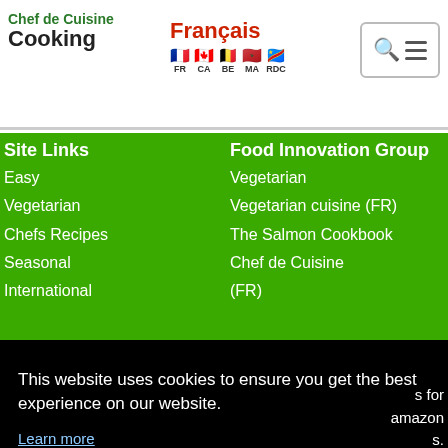Chef de Cuisine Cooking — Français — FR CA BE MA RDC
Site Links
Easy
Vegetarian
Chefs Recipes
Seasonal
International
Food Innovation Group
Vegetarian
Vegetarian cuisine (FR)
The Salmon Cookbook
Chef de Cuisine
(FR)
This website uses cookies to ensure you get the best experience on our website.
Learn more
Got it!
s for
amazon
s.
© 2022 Chefdecuisine.com. All Rights Reserved.